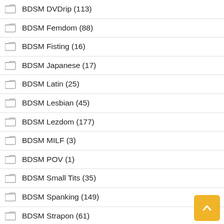BDSM DVDrip (113)
BDSM Femdom (88)
BDSM Fisting (16)
BDSM Japanese (17)
BDSM Latin (25)
BDSM Lesbian (45)
BDSM Lezdom (177)
BDSM MILF (3)
BDSM POV (1)
BDSM Small Tits (35)
BDSM Spanking (149)
BDSM Strapon (61)
BDSM Tattoo (190)
BDSM Uniform (3)
Big Dildos (5)